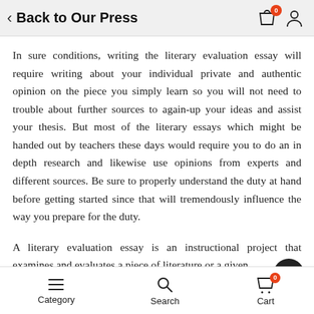Back to Our Press
In sure conditions, writing the literary evaluation essay will require writing about your individual private and authentic opinion on the piece you simply learn so you will not need to trouble about further sources to again-up your ideas and assist your thesis. But most of the literary essays which might be handed out by teachers these days would require you to do an in depth research and likewise use opinions from experts and different sources. Be sure to properly understand the duty at hand before getting started since that will tremendously influence the way you prepare for the duty.
A literary evaluation essay is an instructional project that examines and evaluates a piece of literature or a given
Category   Search   Cart